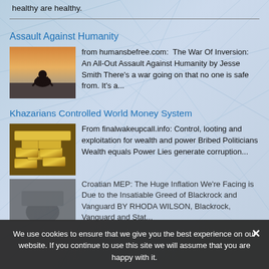healthy are healthy.
Assault Against Humanity
[Figure (photo): A person hunched over in distress, silhouetted against a dramatic sky]
from humansbefree.com:  The War Of Inversion: An All-Out Assault Against Humanity by Jesse Smith There's a war going on that no one is safe from. It's a...
Khazarians Controlled World Money System
[Figure (photo): Stacked gold bars/bullion]
From finalwakeupcall.info: Control, looting and exploitation for wealth and power Bribed Politicians Wealth equals Power Lies generate corruption...
[Figure (photo): Partially visible article with image — Croatian MEP related content]
Croatian MEP: The Huge Inflation We're Facing is Due to the Insatiable Greed of Blackrock and Vanguard BY RHODA WILSON, Blackrock, Vanguard and Stat...
We use cookies to ensure that we give you the best experience on our website. If you continue to use this site we will assume that you are happy with it.